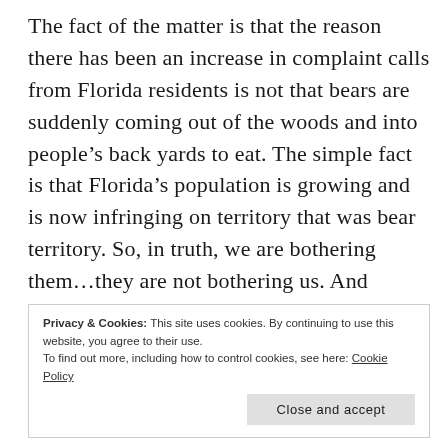The fact of the matter is that the reason there has been an increase in complaint calls from Florida residents is not that bears are suddenly coming out of the woods and into people's back yards to eat. The simple fact is that Florida's population is growing and is now infringing on territory that was bear territory. So, in truth, we are bothering them…they are not bothering us. And hunting bears deep in the woods is not going to prevent them from foraging for food in people's back yards. As the FWC noted, black bears are smart enough
Privacy & Cookies: This site uses cookies. By continuing to use this website, you agree to their use. To find out more, including how to control cookies, see here: Cookie Policy
Close and accept